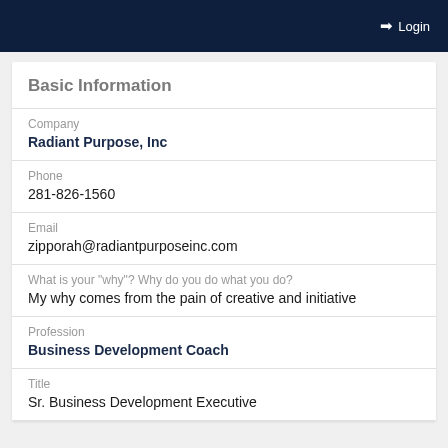Login
Basic Information
Company
Radiant Purpose, Inc
Phone
281-826-1560
Email
zipporah@radiantpurposeinc.com
What is your "why"? Why do you do what you do?
My why comes from the pain of creative and initiative
Profession
Business Development Coach
Title
Sr. Business Development Executive